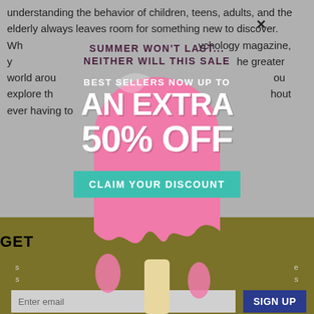understanding the behavior of children, teens, adults, and the elderly always leaves room for something new to discover. Whether you prefer a psychology magazine, you can explore the greater world around you. You can explore the world without ever having to...
GET ... ON
[Figure (infographic): A pink ghost-shaped popsicle popup advertisement. Text reads: SUMMER WON'T LAST... NEITHER WILL THIS SALE. BEST SELLERS NOW UP TO AN EXTRA 50% OFF. A teal button says CLAIM YOUR DISCOUNT. The ghost shape melts at the bottom with drips, revealing a popsicle stick.]
Enter email
SIGN UP